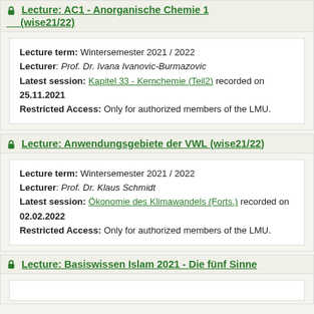Lecture: AC1 - Anorganische Chemie 1 (wise21/22)
Lecture term: Wintersemester 2021 / 2022
Lecturer: Prof. Dr. Ivana Ivanovic-Burmazovic
Latest session: Kapitel 33 - Kernchemie (Teil2) recorded on 25.11.2021
Restricted Access: Only for authorized members of the LMU.
Lecture: Anwendungsgebiete der VWL (wise21/22)
Lecture term: Wintersemester 2021 / 2022
Lecturer: Prof. Dr. Klaus Schmidt
Latest session: Ökonomie des Klimawandels (Forts.) recorded on 02.02.2022
Restricted Access: Only for authorized members of the LMU.
Lecture: Basiswissen Islam 2021 - Die fünf Sinne